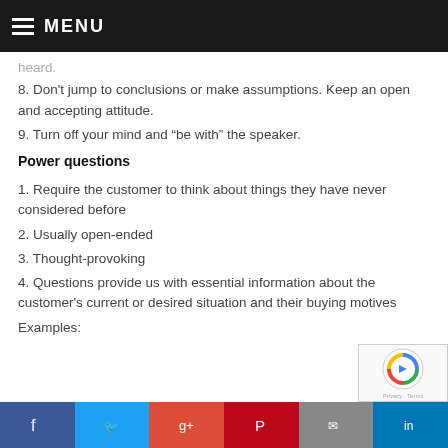MENU
heard.
8. Don't jump to conclusions or make assumptions. Keep an open and accepting attitude.
9. Turn off your mind and "be with" the speaker.
Power questions
1. Require the customer to think about things they have never considered before
2. Usually open-ended
3. Thought-provoking
4. Questions provide us with essential information about the customer's current or desired situation and their buying motives
Examples: